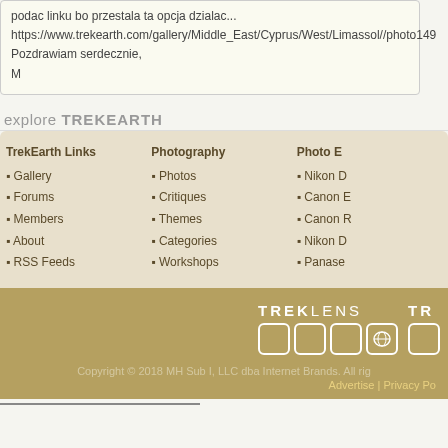podac linku bo przestala ta opcja dzialac...
https://www.trekearth.com/gallery/Middle_East/Cyprus/West/Limassol//photo149...
Pozdrawiam serdecznie,
M
explore TREKEARTH
TrekEarth Links: Gallery, Forums, Members, About, RSS Feeds
Photography: Photos, Critiques, Themes, Categories, Workshops
Photo E: Nikon, Canon, Canon, Nikon, Panase
[Figure (logo): TREKLENS logo with icon boxes and partial TR logo]
Copyright © 2018 MH Sub I, LLC dba Internet Brands. All rig
Advertise | Privacy Po